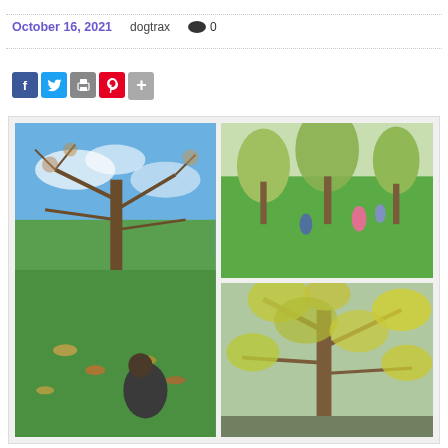October 16, 2021   dogtrax   0
[Figure (infographic): Social sharing icons: Facebook (blue), Twitter (light blue), Print (gray), Pinterest (red), More (gray plus)]
[Figure (photo): Three outdoor park photos: left large photo shows a person sitting on grass under a bare autumn tree with blue sky; top right shows a green grassy park with trees and people in the distance; bottom right shows a tree with yellow-green autumn foliage.]